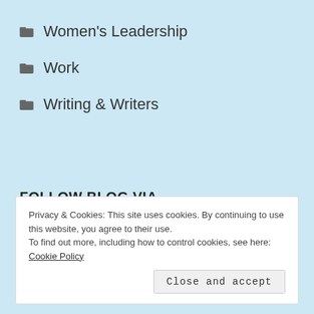Women's Leadership
Work
Writing & Writers
FOLLOW BLOG VIA EMAIL
Privacy & Cookies: This site uses cookies. By continuing to use this website, you agree to their use.
To find out more, including how to control cookies, see here: Cookie Policy
Close and accept